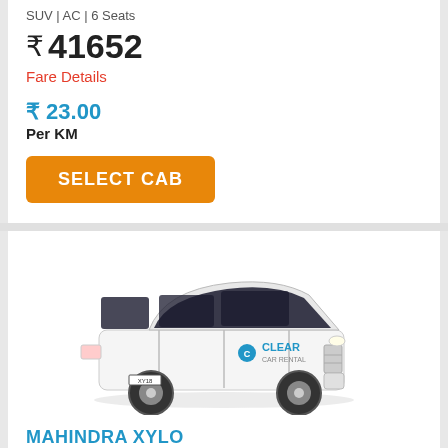SUV | AC | 6 Seats
₹ 41652
Fare Details
₹ 23.00
Per KM
SELECT CAB
[Figure (photo): White Mahindra Xylo SUV with Clear Car Rental branding on the side]
MAHINDRA XYLO
SUV | AC | 6 Seats
₹ 41652